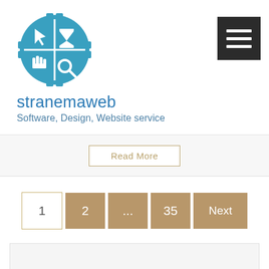[Figure (logo): Stranemaweb logo: a circular badge divided into four quadrants, each containing an icon (cursor, hourglass, hand pointer, magnifier), rendered in teal/blue color with pixel-art style]
stranemaweb
Software, Design, Website service
Read More
1  2  ...  35  Next